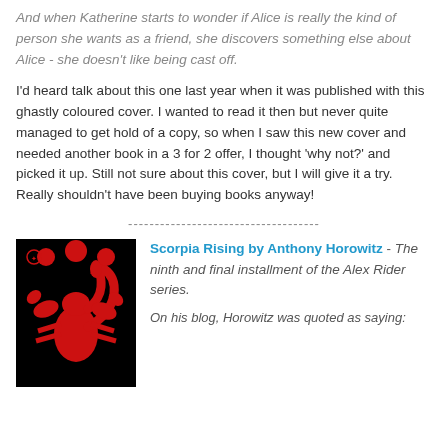And when Katherine starts to wonder if Alice is really the kind of person she wants as a friend, she discovers something else about Alice - she doesn't like being cast off.
I'd heard talk about this one last year when it was published with this ghastly coloured cover. I wanted to read it then but never quite managed to get hold of a copy, so when I saw this new cover and needed another book in a 3 for 2 offer, I thought 'why not?' and picked it up. Still not sure about this cover, but I will give it a try. Really shouldn't have been buying books anyway!
------------------------------------
[Figure (illustration): Book cover of Scorpia Rising - black background with red scorpion silhouette and red circular dots]
Scorpia Rising by Anthony Horowitz - The ninth and final installment of the Alex Rider series.
On his blog, Horowitz was quoted as saying: